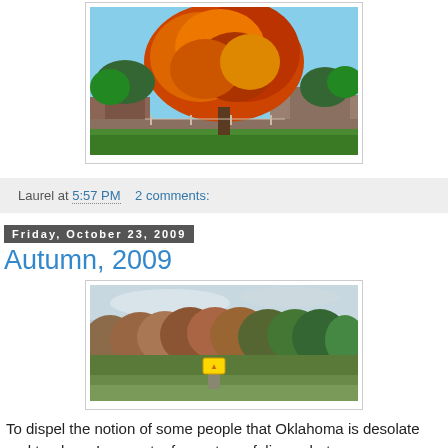[Figure (photo): Autumn tree with orange and red foliage against blue sky, with buildings and green lawn in background]
Laurel at 5:57 PM    2 comments:
Friday, October 23, 2009
Autumn, 2009
[Figure (photo): Panoramic view of autumn foliage hillside with trees showing red, orange and brown colors, with a yellow road sign visible]
To dispel the notion of some people that Oklahoma is desolate and treeless, I present a few autumn foliage photos